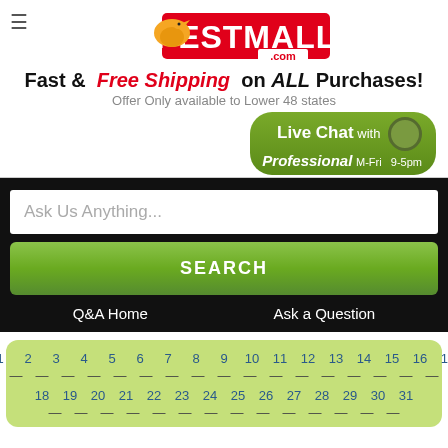[Figure (logo): PestMall.com logo with bird mascot and red banner]
Fast & Free Shipping on ALL Purchases!
Offer Only available to Lower 48 states
[Figure (infographic): Live Chat with Professional M-Fri 9-5pm green button with circle icon]
Ask Us Anything...
SEARCH
Q&A Home
Ask a Question
1 2 3 4 5 6 7 8 9 10 11 12 13 14 15 16 17
18 19 20 21 22 23 24 25 26 27 28 29 30 31